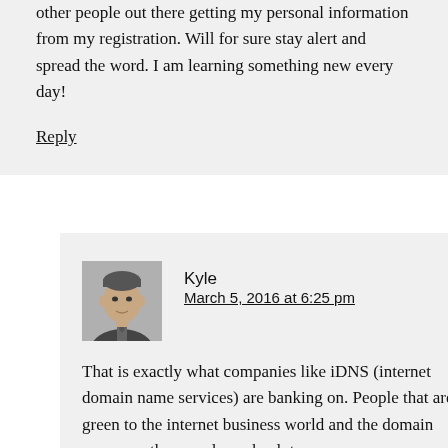other people out there getting my personal information from my registration. Will for sure stay alert and spread the word. I am learning something new every day!
Reply
Kyle
March 5, 2016 at 6:25 pm
That is exactly what companies like iDNS (internet domain name services) are banking on. People that are green to the internet business world and the domain process... they surely suck a lot